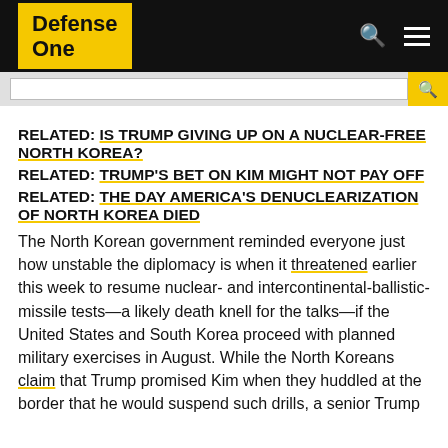Defense One
RELATED: IS TRUMP GIVING UP ON A NUCLEAR-FREE NORTH KOREA?
RELATED: TRUMP'S BET ON KIM MIGHT NOT PAY OFF
RELATED: THE DAY AMERICA'S DENUCLEARIZATION OF NORTH KOREA DIED
The North Korean government reminded everyone just how unstable the diplomacy is when it threatened earlier this week to resume nuclear- and intercontinental-ballistic-missile tests—a likely death knell for the talks—if the United States and South Korea proceed with planned military exercises in August. While the North Koreans claim that Trump promised Kim when they huddled at the border that he would suspend such drills, a senior Trump